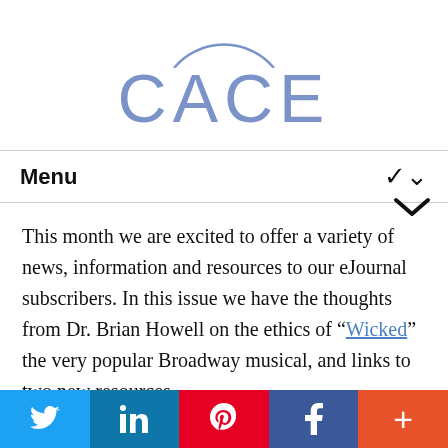[Figure (logo): CACE logo: partial circle arc at top and the text CACE in large blue letters]
Menu
This month we are excited to offer a variety of news, information and resources to our eJournal subscribers. In this issue we have the thoughts from Dr. Brian Howell on the ethics of "Wicked" the very popular Broadway musical, and links to two new resources
[Figure (infographic): Social sharing bar at bottom with Twitter, LinkedIn, Pinterest, Facebook, and More buttons]